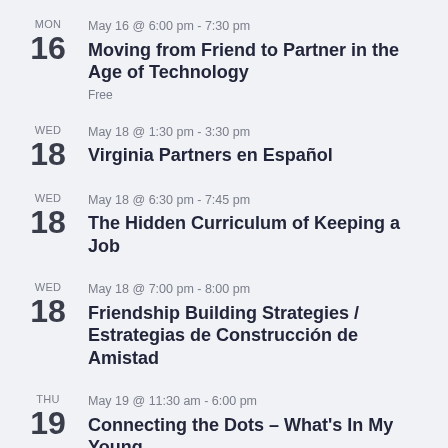MON 16 May 16 @ 6:00 pm - 7:30 pm Moving from Friend to Partner in the Age of Technology Free
WED 18 May 18 @ 1:30 pm - 3:30 pm Virginia Partners en Español
WED 18 May 18 @ 6:30 pm - 7:45 pm The Hidden Curriculum of Keeping a Job
WED 18 May 18 @ 7:00 pm - 8:00 pm Friendship Building Strategies / Estrategias de Construcción de Amistad
THU 19 May 19 @ 11:30 am - 6:00 pm Connecting the Dots – What's In My Young